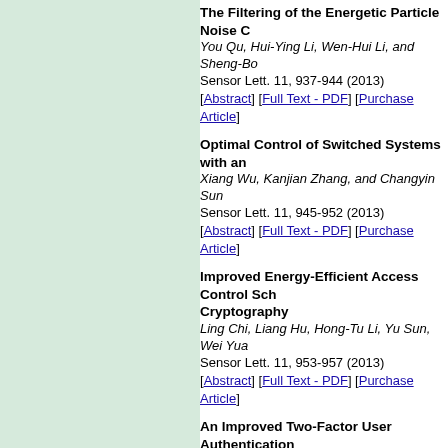The Filtering of the Energetic Particle Noise C... You Qu, Hui-Ying Li, Wen-Hui Li, and Sheng-Bo ... Sensor Lett. 11, 937-944 (2013) [Abstract] [Full Text - PDF] [Purchase Article]
Optimal Control of Switched Systems with an... Xiang Wu, Kanjian Zhang, and Changyin Sun Sensor Lett. 11, 945-952 (2013) [Abstract] [Full Text - PDF] [Purchase Article]
Improved Energy-Efficient Access Control Sch... Cryptography Ling Chi, Liang Hu, Hong-Tu Li, Yu Sun, Wei Yua... Sensor Lett. 11, 953-957 (2013) [Abstract] [Full Text - PDF] [Purchase Article]
An Improved Two-Factor User Authentication... Cryptography Chun-Ta Li, Cheng-Chi Lee, and Chin-Wen Lee Sensor Lett. 11, 958-965 (2013) [Abstract] [Full Text - PDF] [Purchase Article]
The Comprehensive Energy-Routing Protocol... Sensor Networks Lejiang Guo, Bingwen Wang, Chao Gao, Wei Xio... Sensor Lett. 11, 966-973 (2013) [Abstract] [Full Text - PDF] [Purchase Article]
Feature Selection from Incomplete Multi-Sens... Rough Set Theory Jin Zhou, Liang Hu, Jianfeng Chu, Huimin Lu, Fe... Sensor Lett. 11, 974-981 (2013)